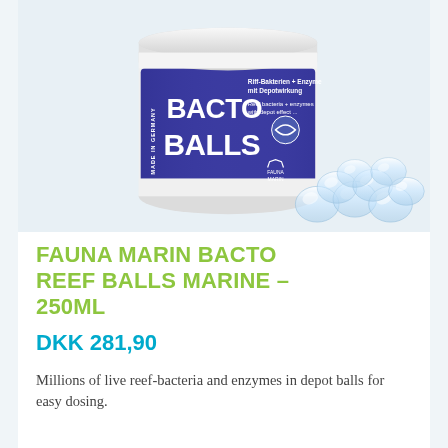[Figure (photo): Product photo of Fauna Marin Bacto Balls container (white cylindrical jar with blue label reading BACTO BALLS MADE IN GERMANY, Riff-Bakterien + Enzyme mit Depotwirkung, Reef bacteria + enzymes with depot effect), with several transparent gel balls/capsules arranged in front of the container on a light blue background.]
FAUNA MARIN BACTO REEF BALLS MARINE – 250ML
DKK 281,90
Millions of live reef-bacteria and enzymes in depot balls for easy dosing.